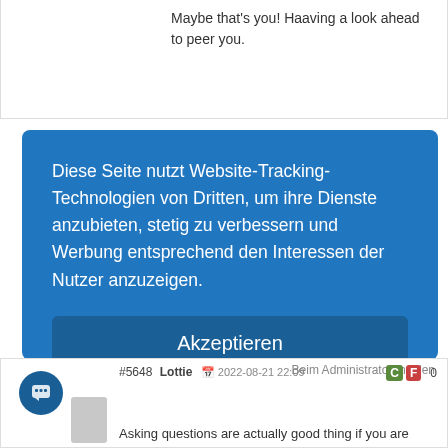Maybe that's you! Haaving a look ahead to peer you.
Diese Seite nutzt Website-Tracking-Technologien von Dritten, um ihre Dienste anzubieten, stetig zu verbessern und Werbung entsprechend den Interessen der Nutzer anzuzeigen.
Akzeptieren
Ablehnen
mehr
Powered by usercentrics & eRecht24
Beim Administrator melden
#5648 Lottie 2022-08-21 22:09 0
Asking questions are actually good thing if you are